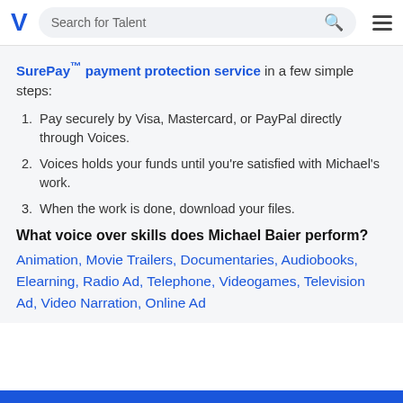V  Search for Talent
SurePay™ payment protection service in a few simple steps:
1. Pay securely by Visa, Mastercard, or PayPal directly through Voices.
2. Voices holds your funds until you're satisfied with Michael's work.
3. When the work is done, download your files.
What voice over skills does Michael Baier perform?
Animation, Movie Trailers, Documentaries, Audiobooks, Elearning, Radio Ad, Telephone, Videogames, Television Ad, Video Narration, Online Ad